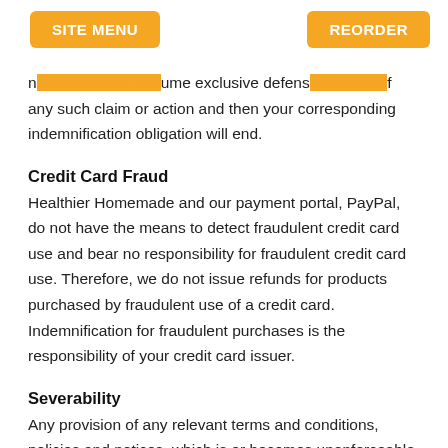not ... assume exclusive defense ... and ... of any such claim or action and then your corresponding indemnification obligation will end.
SITE MENU   REORDER
Credit Card Fraud
Healthier Homemade and our payment portal, PayPal, do not have the means to detect fraudulent credit card use and bear no responsibility for fraudulent credit card use. Therefore, we do not issue refunds for products purchased by fraudulent use of a credit card. Indemnification for fraudulent purchases is the responsibility of your credit card issuer.
Severability
Any provision of any relevant terms and conditions, policies and notices, which is or becomes unenforceable in any